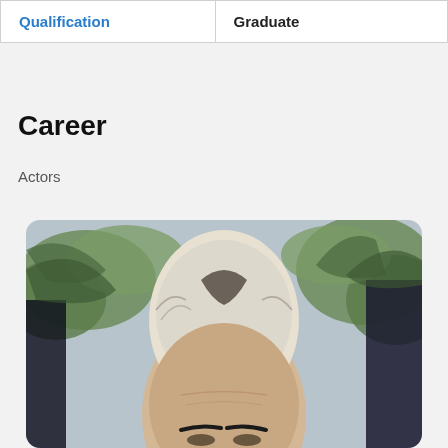| Qualification | Graduate |
Career
Actors
[Figure (photo): Close-up photo of a bald/grey-haired person, cropped at forehead and eyes, with green palm-like plants in the background and a blurred light blue-grey backdrop.]